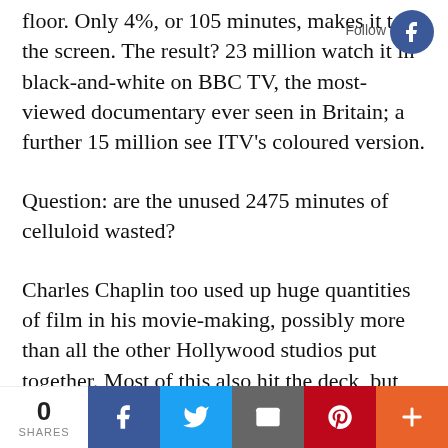floor. Only 4%, or 105 minutes, makes it to the screen. The result? 23 million watch it in black-and-white on BBC TV, the most-viewed documentary ever seen in Britain; a further 15 million see ITV's coloured version.
Question: are the unused 2475 minutes of celluloid wasted?
Charles Chaplin too used up huge quantities of film in his movie-making, possibly more than all the other Hollywood studios put together. Most of this also hit the deck, but what was left became his masterpieces.
0 SHARES | Facebook | Twitter | Email | Pinterest | More